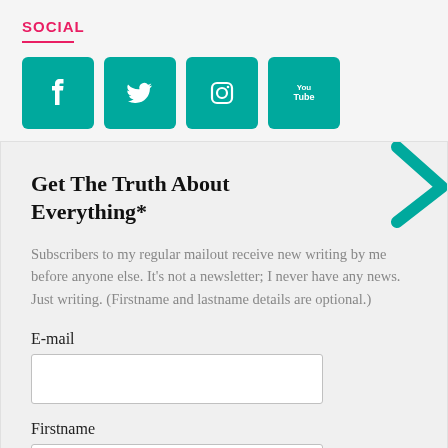SOCIAL
[Figure (infographic): Four social media icon buttons: Facebook, Twitter, Instagram, YouTube — teal rounded square buttons with white icons]
Get The Truth About Everything*
Subscribers to my regular mailout receive new writing by me before anyone else. It’s not a newsletter; I never have any news. Just writing. (Firstname and lastname details are optional.)
E-mail
Firstname